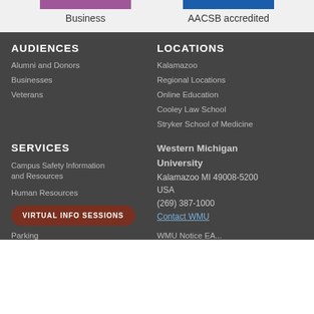[Figure (other): Purple bar graphic above 'Business' label]
Business
[Figure (other): Blue bar graphic above 'AACSB accredited' label]
AACSB accredited
AUDIENCES
Alumni and Donors
Businesses
Veterans
LOCATIONS
Kalamazoo
Regional Locations
Online Education
Cooley Law School
Stryker School of Medicine
SERVICES
Campus Safety Information and Resources
Human Resources
VIRTUAL INFO SESSIONS
Western Michigan University
Kalamazoo MI 49008-5200
USA
(269) 387-1000
Contact WMU
Parking
WMU Notice EA...